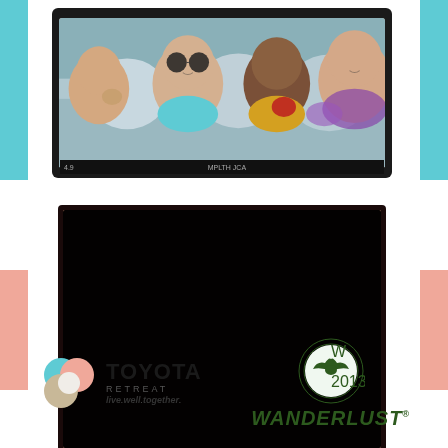[Figure (photo): Color photo of four women smiling and posing inside a car/vehicle interior, taken from inside looking toward front, shown on what appears to be a tablet or monitor screen with dark bezel]
[Figure (photo): Sepia/duotone photo booth style image of a group of women posing playfully inside what appears to be the back of a vehicle (Toyota), with vintage photo border treatment]
[Figure (logo): Toyota Retreat logo with colorful clover/petal shape in teal, salmon/pink, and tan colors, with text 'TOYOTA RETREAT live.well.together.']
[Figure (logo): Wanderlust 2013 logo: circular green badge with bird/wings emblem and '2013' text, below which appears the word 'WANDERLUST' in green italic bold text with registered trademark symbol]